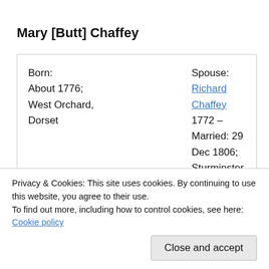Mary [Butt] Chaffey
Born:
About 1776;
West Orchard,
Dorset
Spouse:
Richard Chaffey 1772 –
Married: 29 Dec 1806;
Sturminster Newton, Dorset

Children:
Emma Chaffey
1810 –
Privacy & Cookies: This site uses cookies. By continuing to use this website, you agree to their use.
To find out more, including how to control cookies, see here: Cookie policy
Close and accept